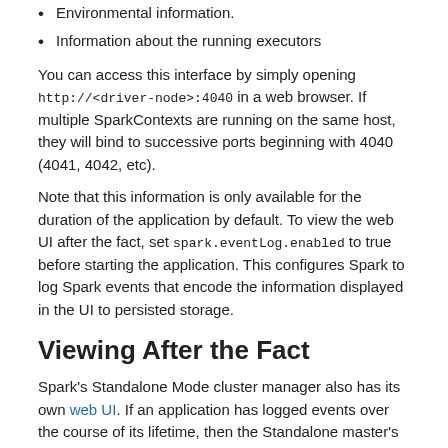Environmental information.
Information about the running executors
You can access this interface by simply opening http://<driver-node>:4040 in a web browser. If multiple SparkContexts are running on the same host, they will bind to successive ports beginning with 4040 (4041, 4042, etc).
Note that this information is only available for the duration of the application by default. To view the web UI after the fact, set spark.eventLog.enabled to true before starting the application. This configures Spark to log Spark events that encode the information displayed in the UI to persisted storage.
Viewing After the Fact
Spark's Standalone Mode cluster manager also has its own web UI. If an application has logged events over the course of its lifetime, then the Standalone master's web UI will automatically re-render the application's UI after the application has finished.
If Spark is run on Mesos or YARN, it is still possible to reconstruct